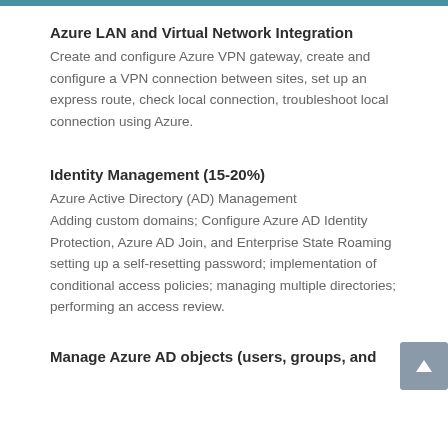Azure LAN and Virtual Network Integration
Create and configure Azure VPN gateway, create and configure a VPN connection between sites, set up an express route, check local connection, troubleshoot local connection using Azure.
Identity Management (15-20%)
Azure Active Directory (AD) Management Adding custom domains; Configure Azure AD Identity Protection, Azure AD Join, and Enterprise State Roaming setting up a self-resetting password; implementation of conditional access policies; managing multiple directories; performing an access review.
Manage Azure AD objects (users, groups, and